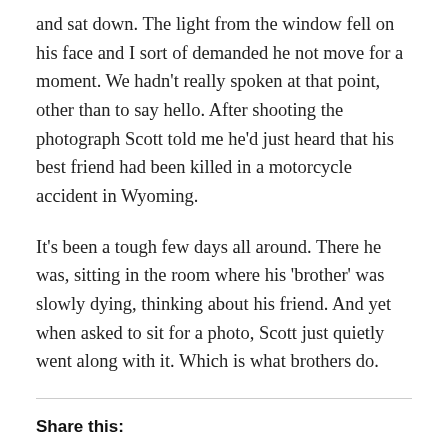and sat down. The light from the window fell on his face and I sort of demanded he not move for a moment. We hadn't really spoken at that point, other than to say hello. After shooting the photograph Scott told me he'd just heard that his best friend had been killed in a motorcycle accident in Wyoming.
It's been a tough few days all around. There he was, sitting in the room where his 'brother' was slowly dying, thinking about his friend. And yet when asked to sit for a photo, Scott just quietly went along with it. Which is what brothers do.
Share this:
Twitter
Facebook
Tumblr
Pinterest
Reddit